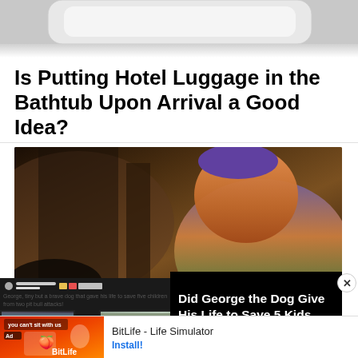[Figure (photo): Top portion of a hotel bathtub, white, partially cropped]
Is Putting Hotel Luggage in the Bathtub Upon Arrival a Good Idea?
[Figure (screenshot): Animated movie still showing Buzz Lightyear character from Lightyear film, with dark dramatic background]
[Figure (screenshot): Overlapping ad panel showing George the dog story with thumbnail images of a dog statue and a white dog, and black panel text]
Did George the Dog Give His Life to Save 5 Kids from 2 Pit Bulls?
[Figure (screenshot): BitLife Life Simulator advertisement banner with red/orange game artwork showing 'you can't sit with us', Ad badge, Install button]